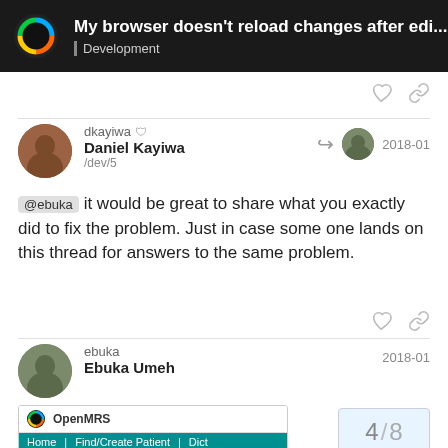My browser doesn't reload changes after edi... | Development
dkayiwa Daniel Kayiwa /dev/5 2018-01
@ebuka it would be great to share what you exactly did to fix the problem. Just in case some one lands on this thread for answers to the same problem.
ebuka Ebuka Umeh 2018-01
[Figure (screenshot): OpenMRS application screenshot showing navigation bar with Home, Find/Create Patient, Dict options and Admin | Manage Apps | Settings bar below]
4 / 8